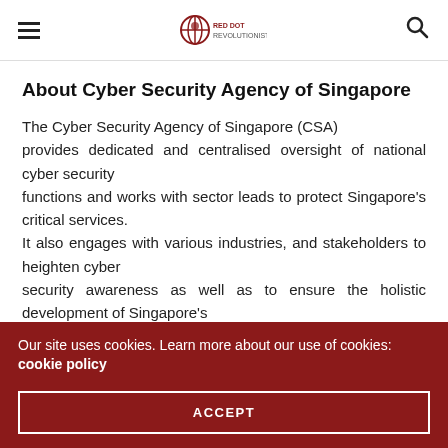≡  [Red Dot Revolutionist Logo]  🔍
About Cyber Security Agency of Singapore
The Cyber Security Agency of Singapore (CSA) provides dedicated and centralised oversight of national cyber security functions and works with sector leads to protect Singapore's critical services. It also engages with various industries, and stakeholders to heighten cyber security awareness as well as to ensure the holistic development of Singapore's cyber security landscape. The Agency is part of the Prime
Our site uses cookies. Learn more about our use of cookies: cookie policy
ACCEPT